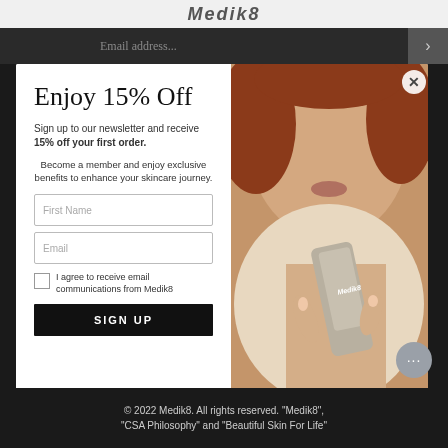Medik8
[Figure (screenshot): Email address input bar with arrow button on dark background]
Enjoy 15% Off
Sign up to our newsletter and receive 15% off your first order.
Become a member and enjoy exclusive benefits to enhance your skincare journey.
[Figure (photo): Woman holding a Medik8 skincare product tube, photo on right side of modal popup]
© 2022 Medik8. All rights reserved. "Medik8", "CSA Philosophy" and "Beautiful Skin For Life"